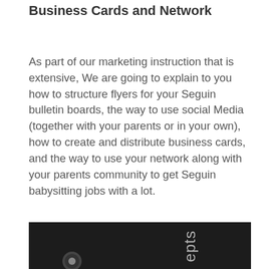Business Cards and Network
As part of our marketing instruction that is extensive, We are going to explain to you how to structure flyers for your Seguin bulletin boards, the way to use social Media (together with your parents or in your own), how to create and distribute business cards, and the way to use your network along with your parents community to get Seguin babysitting jobs with a lot.
[Figure (photo): Dark/black background image with partially visible text 'epts' rotated vertically and a circular icon at the bottom left]